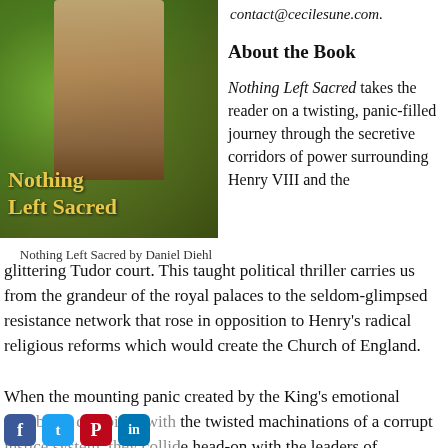contact@cecilesune.com.
[Figure (illustration): Book cover of 'Nothing Left Sacred' showing figures in Tudor-era clothing against a green leafy background, with gold stylized title text.]
Nothing Left Sacred by Daniel Diehl
About the Book
Nothing Left Sacred takes the reader on a twisting, panic-filled journey through the secretive corridors of power surrounding Henry VIII and the glittering Tudor court. This taught political thriller carries us from the grandeur of the royal palaces to the seldom-glimpsed resistance network that rose in opposition to Henry's radical religious reforms which would create the Church of England.
When the mounting panic created by the King's emotional instability combines with the twisted machinations of a corrupt justice system, they collide head-on with the leaders of England's fantastically wealthy, yet tragically naïve, monastic